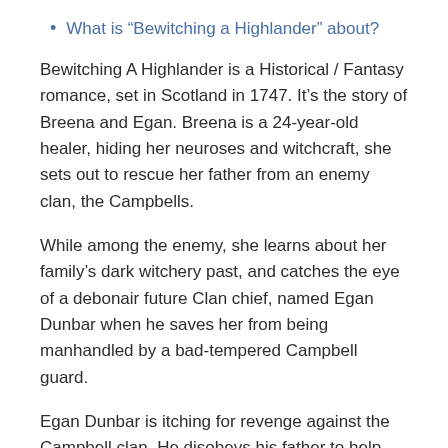What is “Bewitching a Highlander” about?
Bewitching A Highlander is a Historical / Fantasy romance, set in Scotland in 1747. It’s the story of Breena and Egan. Breena is a 24-year-old healer, hiding her neuroses and witchcraft, she sets out to rescue her father from an enemy clan, the Campbells.
While among the enemy, she learns about her family’s dark witchery past, and catches the eye of a debonair future Clan chief, named Egan Dunbar when he saves her from being manhandled by a bad-tempered Campbell guard.
Egan Dunbar is itching for revenge against the Campbell clan. He disobeys his father to help Breena, because he must settle an old debt, also, he is not only enchanted by her, but he cannot seem to keep his eyes or lips off her.